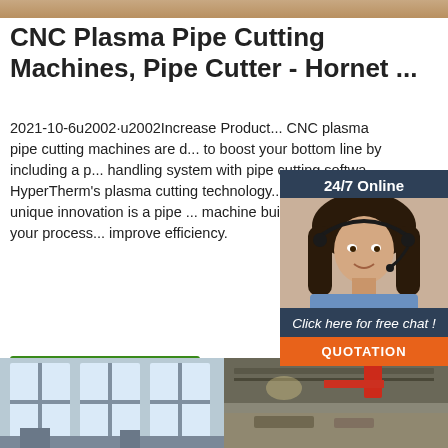[Figure (photo): Top banner image strip, factory/industrial background]
CNC Plasma Pipe Cutting Machines, Pipe Cutter - Hornet ...
2021-10-6u2002·u2002Increase Product... CNC plasma pipe cutting machines are d... to boost your bottom line by including a p... handling system with pipe cutting softwa... HyperTherm's plasma cutting technology... result of this unique innovation is a pipe... machine built to streamline your process... improve efficiency.
[Figure (photo): 24/7 Online chat widget with customer service representative photo, 'Click here for free chat!' and QUOTATION button]
Get Price
[Figure (photo): Bottom two factory interior photographs side by side]